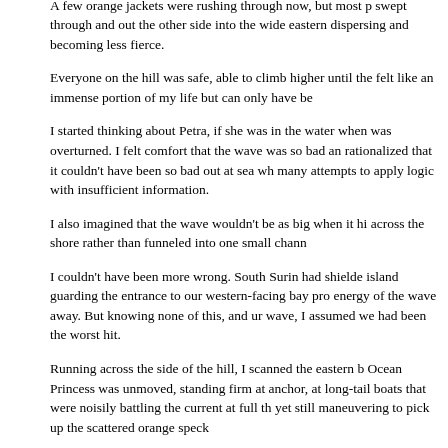white water, the whole bay acting as a funnel.
A few orange jackets were rushing through now, but most p swept through and out the other side into the wide eastern dispersing and becoming less fierce.
Everyone on the hill was safe, able to climb higher until the felt like an immense portion of my life but can only have be
I started thinking about Petra, if she was in the water when was overturned. I felt comfort that the wave was so bad an rationalized that it couldn't have been so bad out at sea wh many attempts to apply logic with insufficient information.
I also imagined that the wave wouldn't be as big when it hi across the shore rather than funneled into one small chann
I couldn't have been more wrong. South Surin had shielde island guarding the entrance to our western-facing bay pro energy of the wave away. But knowing none of this, and ur wave, I assumed we had been the worst hit.
Running across the side of the hill, I scanned the eastern b Ocean Princess was unmoved, standing firm at anchor, at long-tail boats that were noisily battling the current at full th yet still maneuvering to pick up the scattered orange speck
These boat boys were the true heroes of the first minutes, these small vessels in differing currents and winds distilled save hundreds of terrified people, some having been rippe the force of the wave.
With nothing to do there, I climbed back to the western bea